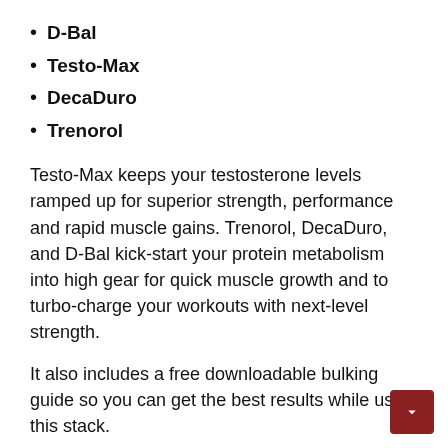D-Bal
Testo-Max
DecaDuro
Trenorol
Testo-Max keeps your testosterone levels ramped up for superior strength, performance and rapid muscle gains. Trenorol, DecaDuro, and D-Bal kick-start your protein metabolism into high gear for quick muscle growth and to turbo-charge your workouts with next-level strength.
It also includes a free downloadable bulking guide so you can get the best results while using this stack.